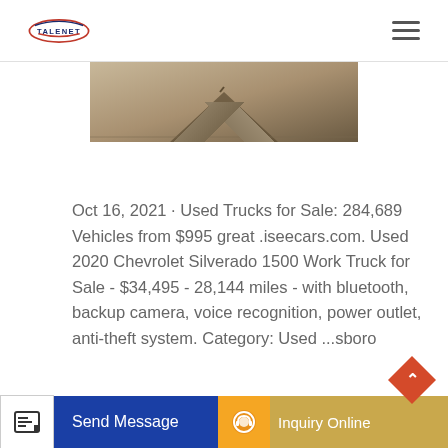TALENET
[Figure (photo): Partial view of a vehicle or road surface with a chevron/arrow marking, showing a beige/tan textured surface.]
Oct 16, 2021 · Used Trucks for Sale: 284,689 Vehicles from $995 great .iseecars.com. Used 2020 Chevrolet Silverado 1500 Work Truck for Sale - $34,495 - 28,144 miles - with bluetooth, backup camera, voice recognition, power outlet, anti-theft system. Category: Used ...sboro...
Send Message
Inquiry Online